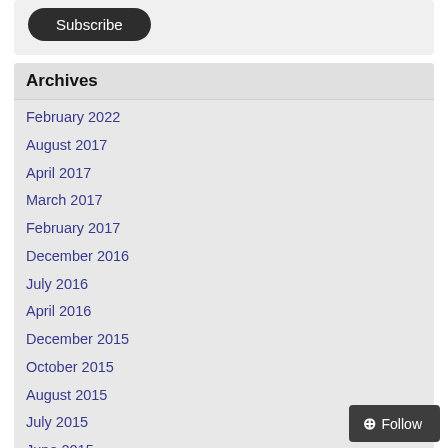[Figure (other): Subscribe button — dark rounded pill button with white text]
Archives
February 2022
August 2017
April 2017
March 2017
February 2017
December 2016
July 2016
April 2016
December 2015
October 2015
August 2015
July 2015
June 2015
April 2015
March 2015
February 2015
September 2014
July 2014
June 2014
May 2014
April 2014